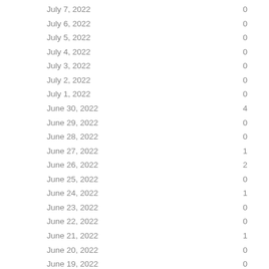| Date | Count |
| --- | --- |
| July 7, 2022 | 0 |
| July 6, 2022 | 0 |
| July 5, 2022 | 0 |
| July 4, 2022 | 0 |
| July 3, 2022 | 0 |
| July 2, 2022 | 0 |
| July 1, 2022 | 0 |
| June 30, 2022 | 4 |
| June 29, 2022 | 0 |
| June 28, 2022 | 0 |
| June 27, 2022 | 1 |
| June 26, 2022 | 2 |
| June 25, 2022 | 0 |
| June 24, 2022 | 1 |
| June 23, 2022 | 0 |
| June 22, 2022 | 0 |
| June 21, 2022 | 1 |
| June 20, 2022 | 0 |
| June 19, 2022 | 0 |
| June 18, 2022 | 0 |
| June 17, 2022 | 1 |
| June 16, 2022 | 0 |
| June 15, 2022 | 0 |